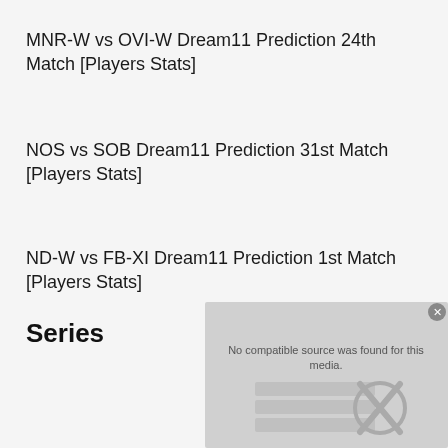MNR-W vs OVI-W Dream11 Prediction 24th Match [Players Stats]
NOS vs SOB Dream11 Prediction 31st Match [Players Stats]
ND-W vs FB-XI Dream11 Prediction 1st Match [Players Stats]
Series
[Figure (screenshot): Media player overlay showing 'No compatible source was found for this media.' error message with a crossed-out film reel icon]